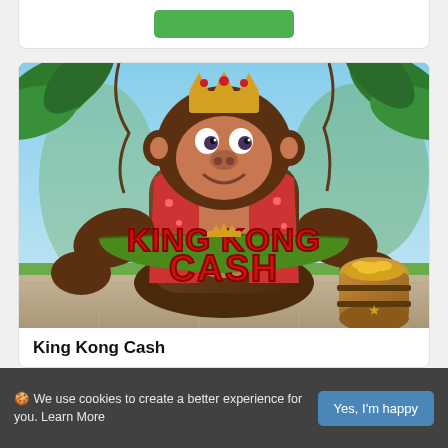[Figure (illustration): King Kong Cash slot game promotional image showing a cartoon gorilla wearing a crown and red Hawaiian shirt, standing in a jungle with 'King Kong Cash' text logo and a barrel of gold coins]
King Kong Cash
King Kong Cash is a new Blueprint Gaming release with
🍪 We use cookies to create a better experience for you. Learn More